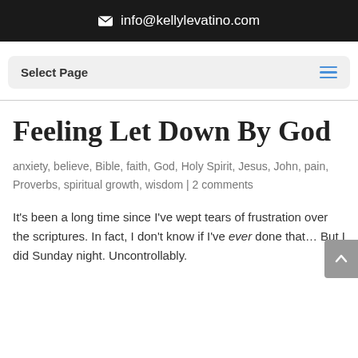info@kellylevatino.com
Select Page
Feeling Let Down By God
anxiety, believe, Bible, faith, God, Holy Spirit, Jesus, John, pain, Proverbs, spiritual growth, wisdom | 2 comments
It's been a long time since I've wept tears of frustration over the scriptures. In fact, I don't know if I've ever done that... But I did Sunday night. Uncontrollably.